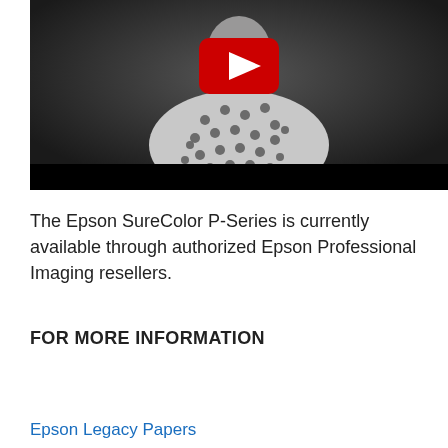[Figure (screenshot): Video thumbnail showing a woman in a black-and-white patterned blouse against a dark gray background, with a YouTube play button overlay in red and white at the top center, and a black bar at the bottom.]
The Epson SureColor P-Series is currently available through authorized Epson Professional Imaging resellers.
FOR MORE INFORMATION
Epson Pro Imaging
Epson Legacy Papers